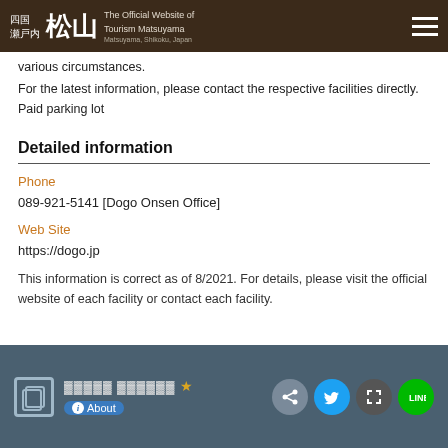The Official Website of Tourism Matsuyama
various circumstances.
For the latest information, please contact the respective facilities directly.
Paid parking lot
Detailed information
Phone
089-921-5141 [Dogo Onsen Office]
Web Site
https://dogo.jp
This information is correct as of 8/2021. For details, please visit the official website of each facility or contact each facility.
About